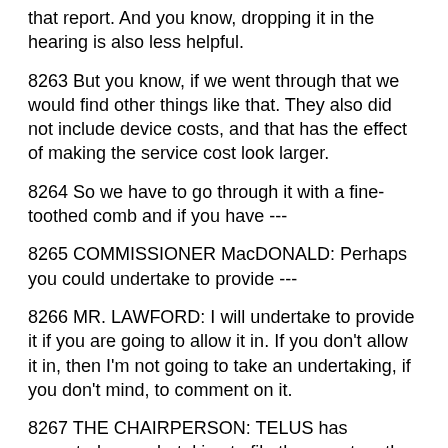that report. And you know, dropping it in the hearing is also less helpful.
8263 But you know, if we went through that we would find other things like that. They also did not include device costs, and that has the effect of making the service cost look larger.
8264 So we have to go through it with a fine-toothed comb and if you have ---
8265 COMMISSIONER MacDONALD: Perhaps you could undertake to provide ---
8266 MR. LAWFORD: I will undertake to provide it if you are going to allow it in. If you don't allow it in, then I'm not going to take an undertaking, if you don't mind, to comment on it.
8267 THE CHAIRPERSON: TELUS has accepted an undertaking to file the report on the record of the proceeding, and the Commission will rule later, not from